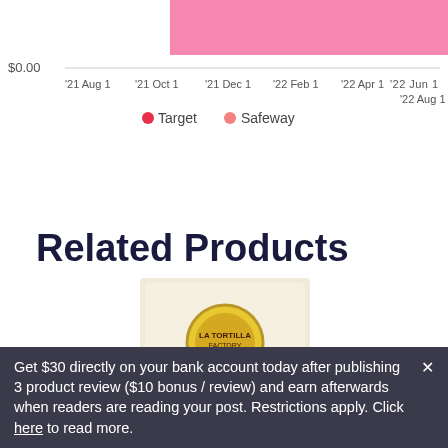[Figure (line-chart): Price history chart]
● Target  ● Safeway
Related Products
[Figure (photo): La Tortilla Factory Tortillas Made With Whole Wheat product package photo]
La Tortilla Factory
La Tortilla Factory Tortillas Made With Whole Wheat, Original, Original
Get $30 directly on your bank account today after publishing 3 product review ($10 bonus / review) and earn afterwards when readers are reading your post. Restrictions apply. Click here to read more.